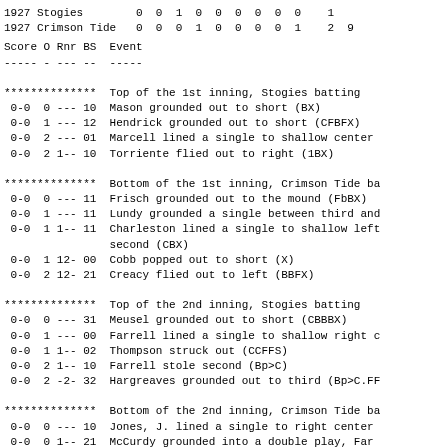| Team | 1 | 2 | 3 | 4 | 5 | 6 | 7 | 8 | 9 | R |
| --- | --- | --- | --- | --- | --- | --- | --- | --- | --- | --- |
| 1927 Stogies | 0 | 0 | 1 | 0 | 0 | 0 | 0 | 0 | 0 | 1 |
| 1927 Crimson Tide | 0 | 0 | 0 | 1 | 0 | 0 | 0 | 0 | 1 | 2 |
| Score | O | Rnr | BS | Event |
| --- | --- | --- | --- | --- |
| ************** |  |  |  | Top of the 1st inning, Stogies batting |
| 0-0 | 0 | --- | 10 | Mason grounded out to short (BX) |
| 0-0 | 1 | --- | 12 | Hendrick grounded out to short (CFBFX) |
| 0-0 | 2 | --- | 01 | Marcell lined a single to shallow center |
| 0-0 | 2 | 1-- | 10 | Torriente flied out to right (1BX) |
| ************** |  |  |  | Bottom of the 1st inning, Crimson Tide ba |
| 0-0 | 0 | --- | 11 | Frisch grounded out to the mound (FbBX) |
| 0-0 | 1 | --- | 11 | Lundy grounded a single between third and |
| 0-0 | 1 | 1-- | 11 | Charleston lined a single to shallow left |
|  |  |  |  | second (CBX) |
| 0-0 | 1 | 12- | 00 | Cobb popped out to short (X) |
| 0-0 | 2 | 12- | 21 | Creacy flied out to left (BBFX) |
| ************** |  |  |  | Top of the 2nd inning, Stogies batting |
| 0-0 | 0 | --- | 31 | Meusel grounded out to short (CBBBX) |
| 0-0 | 1 | --- | 00 | Farrell lined a single to shallow right c |
| 0-0 | 1 | 1-- | 02 | Thompson struck out (CCFFS) |
| 0-0 | 2 | 1-- | 10 | Farrell stole second (Bp>C) |
| 0-0 | 2 | -2- | 32 | Hargreaves grounded out to third (Bp>C.FF |
| ************** |  |  |  | Bottom of the 2nd inning, Crimson Tide ba |
| 0-0 | 0 | --- | 10 | Jones, J. lined a single to right center |
| 0-0 | 0 | 1-- | 21 | McCurdy grounded into a double play, Farr |